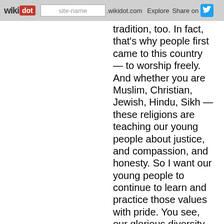wikidot | site-name .wikidot.com | Explore | Share on
tradition, too. In fact, that's why people first came to this country — to worship freely. And whether you are Muslim, Christian, Jewish, Hindu, Sikh — these religions are teaching our young people about justice, and compassion, and honesty. So I want our young people to continue to learn and practice those values with pride. You see, our glorious diversity — our diversities of faiths and colors and creeds — that is not a threat to who we are, it makes us who we are. (Applause.) So the young people here and the young people out there: Do not ever let anyone make you feel like you don't matter, or like you don't have a